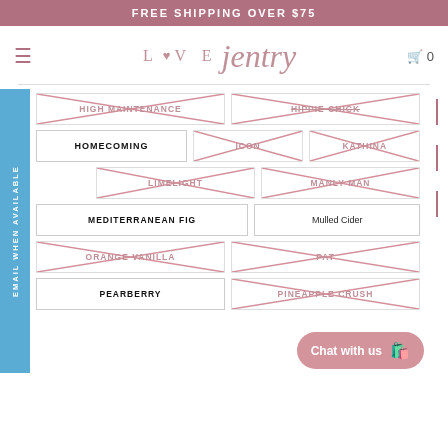FREE SHIPPING OVER $75
[Figure (logo): Love Jentry brand logo with heart icon]
HIGH MAINTENANCE (crossed out/unavailable)
HIPPIE CHICK (crossed out/unavailable)
HOMECOMING (available)
ICON (crossed out/unavailable)
KATHINA (crossed out/unavailable)
LIMELIGHT (crossed out/unavailable)
MANLY MAN (crossed out/unavailable)
MEDITERRANEAN FIG (available)
Mulled Cider (available)
ORANGE VANILLA (crossed out/unavailable)
PATCHOULI (partially visible, crossed out)
PEARBERRY (available)
PINEAPPLE CRUSH (crossed out/unavailable)
EMAIL WHEN AVAILABLE
Chat with us